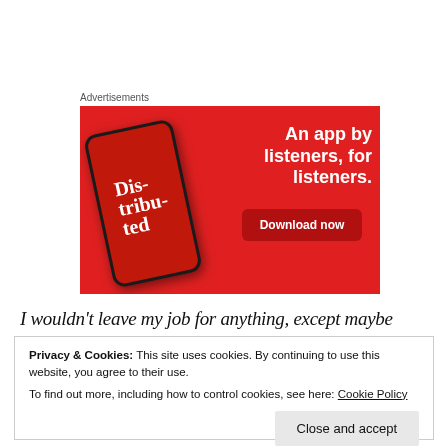Advertisements
[Figure (illustration): Advertisement banner with red background showing a podcast app on a smartphone with text 'An app by listeners, for listeners.' and a 'Download now' button. The phone screen shows 'Dis-tribu-ted' text.]
I wouldn't leave my job for anything, except maybe
Privacy & Cookies: This site uses cookies. By continuing to use this website, you agree to their use.
To find out more, including how to control cookies, see here: Cookie Policy
Close and accept